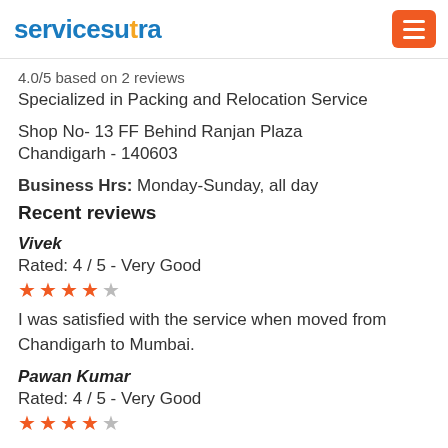servicesutra
4.0/5 based on 2 reviews
Specialized in Packing and Relocation Service
Shop No- 13 FF Behind Ranjan Plaza
Chandigarh - 140603
Business Hrs: Monday-Sunday, all day
Recent reviews
Vivek
Rated: 4 / 5 - Very Good
★★★★☆
I was satisfied with the service when moved from Chandigarh to Mumbai.
Pawan Kumar
Rated: 4 / 5 - Very Good
★★★★☆